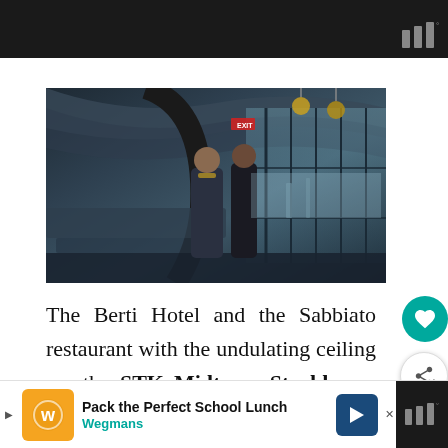[Figure (photo): Dark header bar with weather app icon (three vertical bars with degree symbol) at top right]
[Figure (photo): Interior photo of a modern restaurant/hotel lobby with undulating ceiling, floor-to-ceiling glass windows, pendant lighting, and two people (a man in a suit and a woman in black) standing and conversing]
The Berti Hotel and the Sabbiato restaurant with the undulating ceiling are the STK Midtown Steakhouse in
[Figure (other): Teal circular favorite/heart button floating on right side]
[Figure (other): White circular share button floating on right side]
[Figure (other): Advertisement bar at bottom: Wegmans 'Pack the Perfect School Lunch' ad with orange logo, navigation arrow, and dark weather icon at far right]